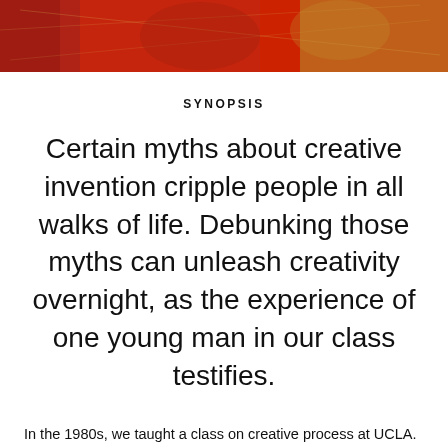[Figure (photo): Top portion of a decorative image showing red and gold tones, appearing to depict a figure in ornate costume against a textured background.]
SYNOPSIS
Certain myths about creative invention cripple people in all walks of life. Debunking those myths can unleash creativity overnight, as the experience of one young man in our class testifies.
In the 1980s, we taught a class on creative process at UCLA. Much to our dismay, many of our students accepted certain myths about creative invention that